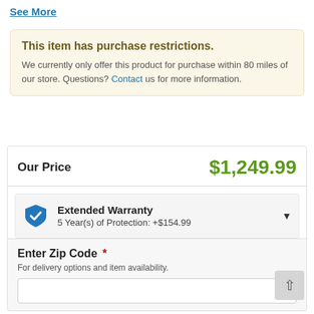See More
This item has purchase restrictions. We currently only offer this product for purchase within 80 miles of our store. Questions? Contact us for more information.
Our Price $1,249.99
Extended Warranty 5 Year(s) of Protection: +$154.99
Enter Zip Code * For delivery options and item availability.